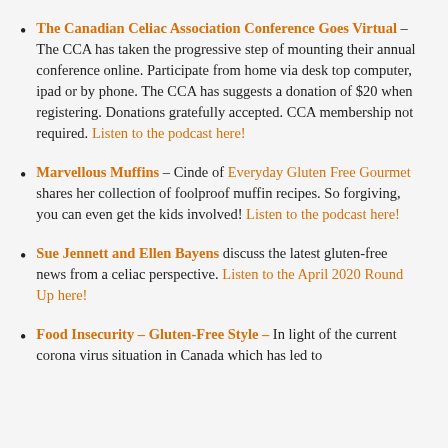The Canadian Celiac Association Conference Goes Virtual – The CCA has taken the progressive step of mounting their annual conference online. Participate from home via desk top computer, ipad or by phone. The CCA has suggests a donation of $20 when registering. Donations gratefully accepted. CCA membership not required. Listen to the podcast here!
Marvellous Muffins – Cinde of Everyday Gluten Free Gourmet shares her collection of foolproof muffin recipes. So forgiving, you can even get the kids involved! Listen to the podcast here!
Sue Jennett and Ellen Bayens discuss the latest gluten-free news from a celiac perspective. Listen to the April 2020 Round Up here!
Food Insecurity – Gluten-Free Style – In light of the current corona virus situation in Canada which has led to